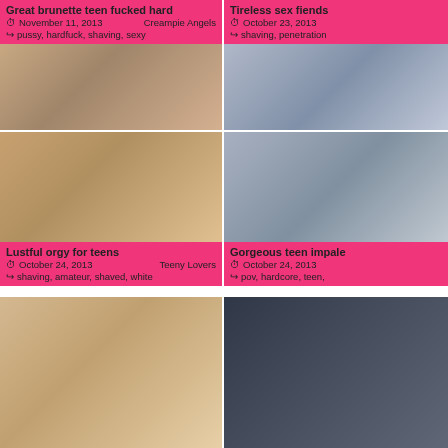Great brunette teen fucked hard
November 11, 2013   Creampie Angels
pussy, hardfuck, shaving, sexy
[Figure (photo): Two people on a bed]
Lustful orgy for teens
October 24, 2013   Teeny Lovers
shaving, amateur, shaved, white
Tireless sex fiends
October 23, 2013
shaving, penetration
[Figure (photo): Person lying on couch]
Gorgeous teen impale
October 24, 2013
pov, hardcore, teen,
[Figure (photo): Two people close up]
[Figure (photo): Two people standing in room]